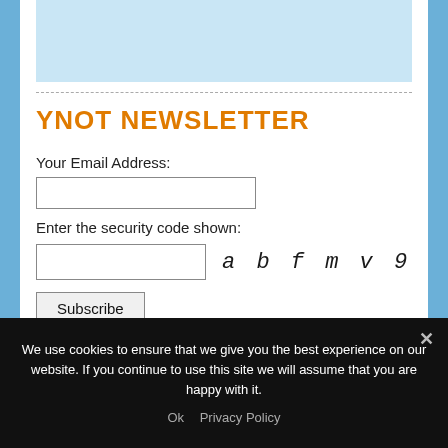[Figure (other): Light blue image strip at top of content area]
YNOT NEWSLETTER
Your Email Address:
Enter the security code shown:
a b f m v 9
Subscribe
Delivered by YNOT Mail
We use cookies to ensure that we give you the best experience on our website. If you continue to use this site we will assume that you are happy with it.
Ok   Privacy Policy